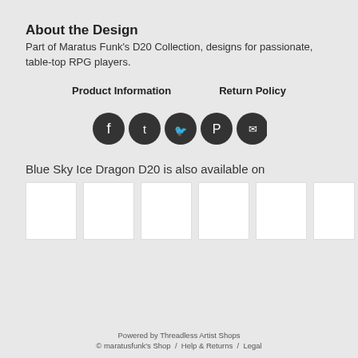About the Design
Part of Maratus Funk's D20 Collection, designs for passionate, table-top RPG players.
Product Information   Return Policy
[Figure (infographic): Five circular dark social media sharing icons: Facebook, Tumblr, Twitter, Pinterest, Email]
Blue Sky Ice Dragon D20 is also available on
[Figure (infographic): Row of white product thumbnail boxes showing available products]
Powered by Threadless Artist Shops
© maratusfunk's Shop / Help & Returns / Legal